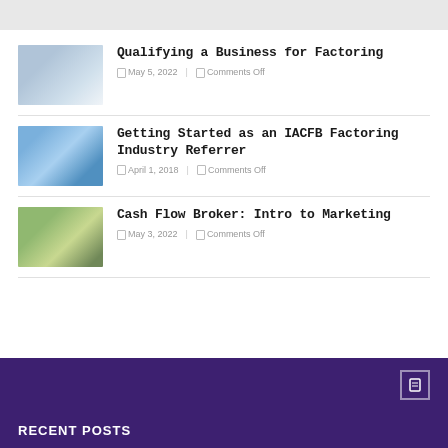[Figure (photo): Gray top bar / header area]
[Figure (photo): Thumbnail of person at laptop, blue/white tones]
Qualifying a Business for Factoring
May 5, 2022   Comments Off
[Figure (photo): Thumbnail of smiling blonde woman holding money, blue sky background]
Getting Started as an IACFB Factoring Industry Referrer
April 1, 2018   Comments Off
[Figure (photo): Thumbnail of woman relaxing outdoors, greenery background]
Cash Flow Broker: Intro to Marketing
May 3, 2022   Comments Off
RECENT POSTS